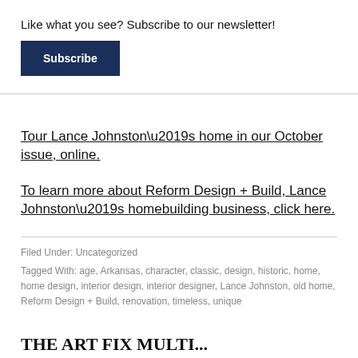Like what you see? Subscribe to our newsletter!
Subscribe
Tour Lance Johnston’s home in our October issue, online.
To learn more about Reform Design + Build, Lance Johnston’s homebuilding business, click here.
Filed Under: Uncategorized
Tagged With: age, Arkansas, character, classic, design, historic, home, home design, interior design, interior designer, Lance Johnston, old home, Reform Design + Build, renovation, timeless, unique
THE ART FIX MULTI...